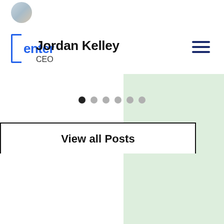[Figure (photo): Circular avatar/profile photo of a person at top left]
[Figure (logo): Center brand logo with blue bracket and text 'enter']
Jordan Kelley
CEO
[Figure (illustration): Hamburger menu icon (three horizontal lines) in dark blue at top right]
[Figure (illustration): Carousel pagination dots — 6 dots, first one dark/active]
View all Posts